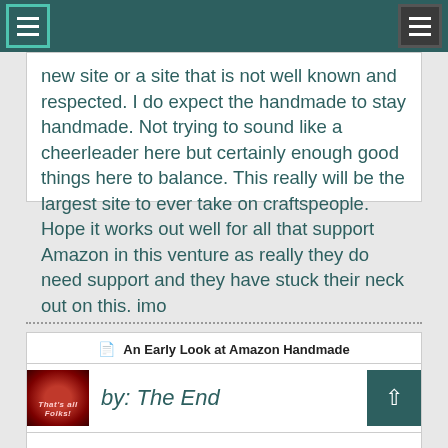Menu navigation header
new site or a site that is not well known and respected. I do expect the handmade to stay handmade. Not trying to sound like a cheerleader here but certainly enough good things here to balance. This really will be the largest site to ever take on craftspeople. Hope it works out well for all that support Amazon in this venture as really they do need support and they have stuck their neck out on this. imo
An Early Look at Amazon Handmade
by: The End
Sun Sep 20 20:58:42 2015
A comments to 10% of some fit...